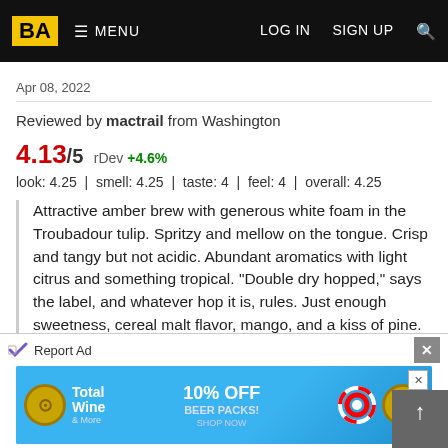BA  MENU  LOG IN  SIGN UP  [search]
Apr 08, 2022
Reviewed by mactrail from Washington
4.13/5  rDev +4.6%
look: 4.25 | smell: 4.25 | taste: 4 | feel: 4 | overall: 4.25
Attractive amber brew with generous white foam in the Troubadour tulip. Spritzy and mellow on the tongue. Crisp and tangy but not acidic. Abundant aromatics with light citrus and something tropical. "Double dry hopped," says the label, and whatever hop it is, rules. Just enough sweetness, cereal malt flavor, mango, and a kiss of pine. Just enough bitterness and more than enough friendliness.
I got a six pack of the 12 oz cans and have been workin
Report Ad